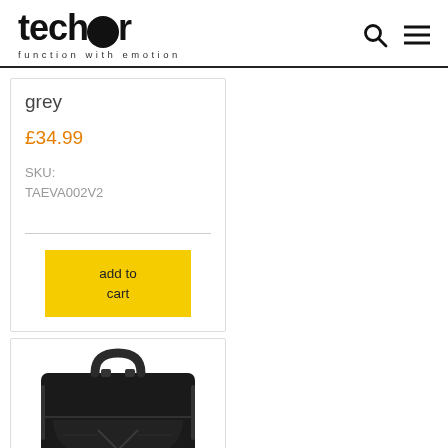techair — function with emotion
grey
£34.99
SKU: TAEVA002V2
add to cart
[Figure (photo): A black laptop bag/briefcase photographed from the front, showing a handle and zipper compartments]